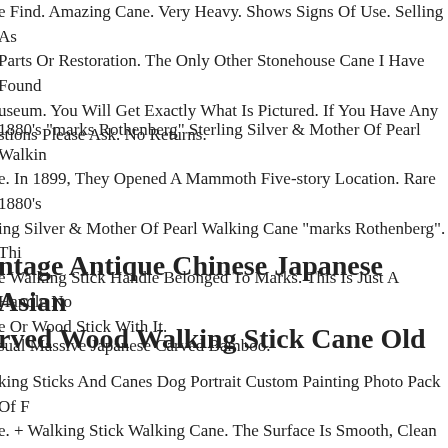e Find. Amazing Cane. Very Heavy. Shows Signs Of Use. Selling As Parts Or Restoration. The Only Other Stonehouse Cane I Have Found useum. You Will Get Exactly What Is Pictured. If You Have Any stions Please Ask. No Returns.
1880's "marks Rothenberg" Sterling Silver & Mother Of Pearl Walkin e. In 1899, They Opened A Mammoth Five-story Location. Rare 1880's ing Silver & Mother Of Pearl Walking Cane "marks Rothenberg". Thi e Walking Stick Handle Belonged To Marks. This Is Just A Handle No e Or Wood Stick With It.
ntage Antique Chinese Japanese Asian rved Wood Walking Stick Cane Old
sual Massive Japanese Carved Bamboo.
king Sticks And Canes Dog Portrait Custom Painting Photo Pack Of F e. + Walking Stick Walking Cane. The Surface Is Smooth, Clean And geus. + Use Unisex. + Oak Wood.